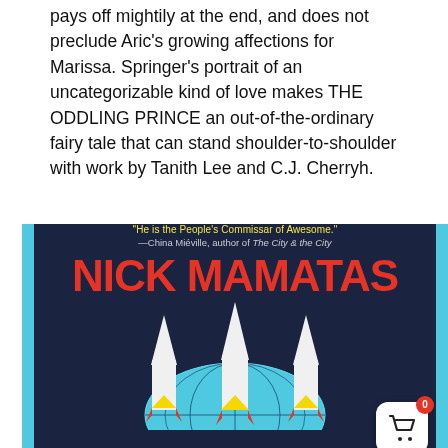pays off mightily at the end, and does not preclude Aric's growing affections for Marissa. Springer's portrait of an uncategorizable kind of love makes THE ODDLING PRINCE an out-of-the-ordinary fairy tale that can stand shoulder-to-shoulder with work by Tanith Lee and C.J. Cherryh.
[Figure (illustration): Book cover for Nick Mamatas with dark navy background, cyan borders, large red bold author name text, yellow quote text reading 'He is the People's Commissar of Awesome.' attributed to China Miéville author of The City & the City, and illustrated rockets/missiles with a teal globe below. A white shopping basket button with red badge showing 0 is in the bottom right corner.]